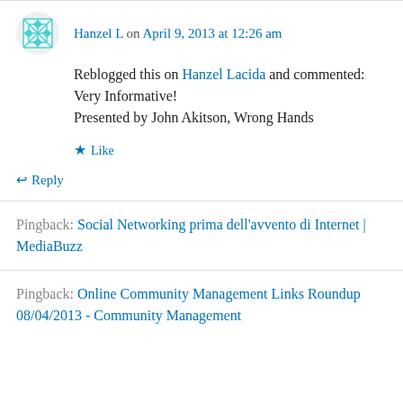Hanzel L on April 9, 2013 at 12:26 am
Reblogged this on Hanzel Lacida and commented:
Very Informative!
Presented by John Akitson, Wrong Hands
Like
Reply
Pingback: Social Networking prima dell'avvento di Internet | MediaBuzz
Pingback: Online Community Management Links Roundup 08/04/2013 - Community Management